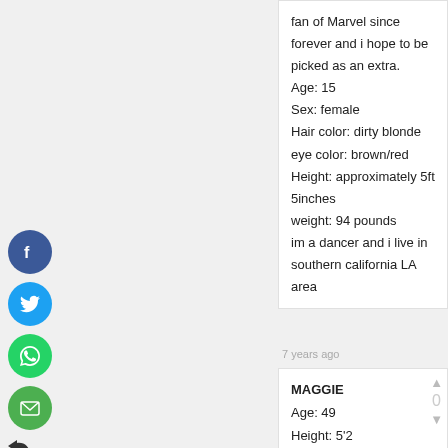fan of Marvel since forever and i hope to be picked as an extra. Age: 15 Sex: female Hair color: dirty blonde eye color: brown/red Height: approximately 5ft 5inches weight: 94 pounds im a dancer and i live in southern california LA area
7 years ago
MAGGIE Age: 49 Height: 5'2 Weight: 150